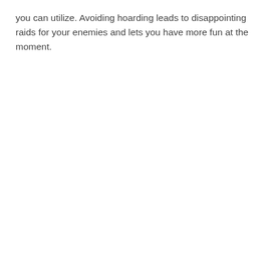you can utilize. Avoiding hoarding leads to disappointing raids for your enemies and lets you have more fun at the moment.